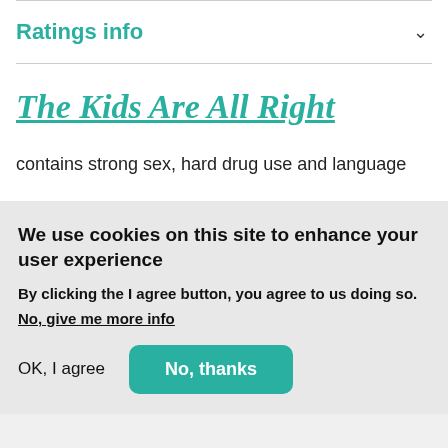Ratings info
The Kids Are All Right
contains strong sex, hard drug use and language
We use cookies on this site to enhance your user experience
By clicking the I agree button, you agree to us doing so.
No, give me more info
OK, I agree
No, thanks